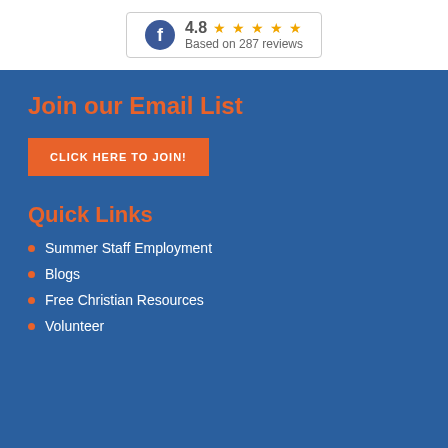[Figure (screenshot): Facebook review widget showing 4.8 star rating based on 287 reviews]
Join our Email List
CLICK HERE TO JOIN!
Quick Links
Summer Staff Employment
Blogs
Free Christian Resources
Volunteer